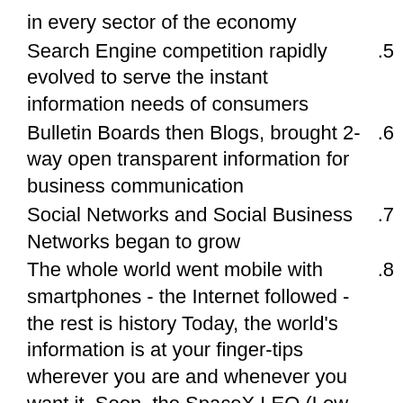in every sector of the economy
Search Engine competition rapidly evolved to serve the instant information needs of consumers .5
Bulletin Boards then Blogs, brought 2-way open transparent information for business communication .6
Social Networks and Social Business Networks began to grow .7
The whole world went mobile with smartphones - the Internet followed - the rest is history Today, the world's information is at your finger-tips wherever you are and whenever you want it. Soon, the SpaceX LEO (Low Earth Orbit) Satellite Network System, Starlink will deliver Internet Service to anywhere on the planet, and anyone with a mobile device will be able to access the Internet. Well, that just changes everything, and here we go again. Are you ready for the next wave of opportunity/chaos, aboard the next satellite rocket launch? It's already here, and deployed. It will come online in 2020. Once again .8